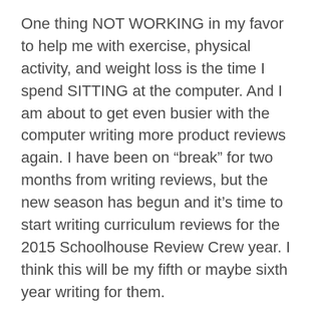One thing NOT WORKING in my favor to help me with exercise, physical activity, and weight loss is the time I spend SITTING at the computer. And I am about to get even busier with the computer writing more product reviews again. I have been on “break” for two months from writing reviews, but the new season has begun and it’s time to start writing curriculum reviews for the 2015 Schoolhouse Review Crew year. I think this will be my fifth or maybe sixth year writing for them.
We started several new curriculum products over the past several weeks. I feel busier than ever as we have adjusted our schedule and are trying out these new items to tell our readers